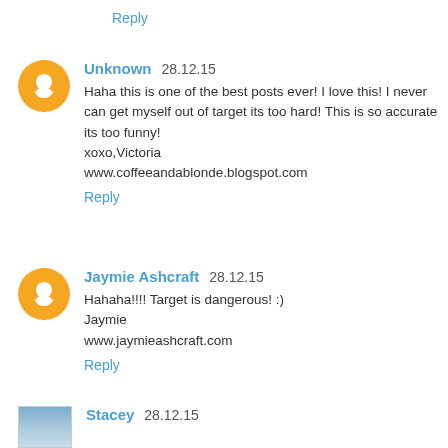Reply
Unknown 28.12.15
Haha this is one of the best posts ever! I love this! I never can get myself out of target its too hard! This is so accurate its too funny!
xoxo,Victoria
www.coffeeandablonde.blogspot.com
Reply
Jaymie Ashcraft 28.12.15
Hahaha!!!! Target is dangerous! :)
Jaymie
www.jaymieashcraft.com
Reply
Stacey 28.12.15